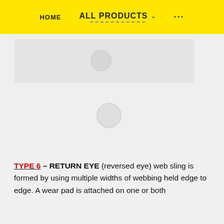HOME   ALL PRODUCTS ▾   ...
[Figure (photo): Product image placeholder with light gray background and circular element, top section]
[Figure (photo): Product image placeholder with light gray background and circular element, middle section]
TYPE 6 – RETURN EYE (reversed eye) web sling is formed by using multiple widths of webbing held edge to edge. A wear pad is attached on one or both